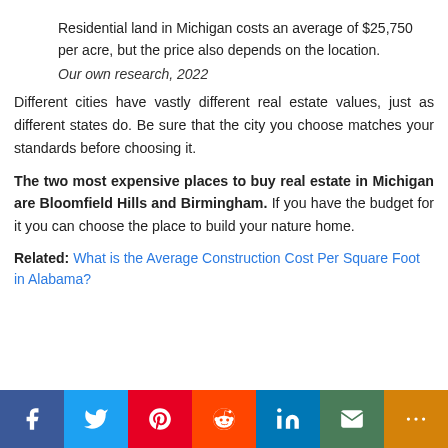Residential land in Michigan costs an average of $25,750 per acre, but the price also depends on the location.
Our own research, 2022
Different cities have vastly different real estate values, just as different states do. Be sure that the city you choose matches your standards before choosing it.
The two most expensive places to buy real estate in Michigan are Bloomfield Hills and Birmingham. If you have the budget for it you can choose the place to build your nature home.
Related: What is the Average Construction Cost Per Square Foot in Alabama?
[Figure (infographic): Social sharing bar with icons for Facebook, Twitter, Pinterest, Reddit, LinkedIn, Email, and More]